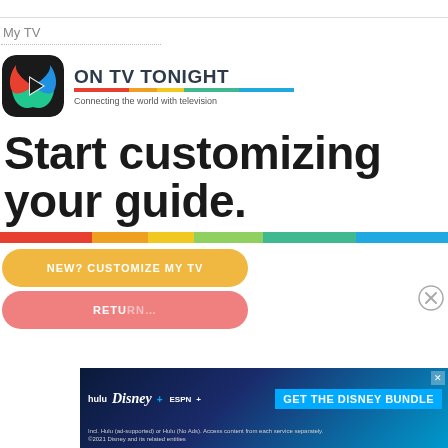My TV
[Figure (logo): On TV Tonight logo: colorful swirl app icon with brand name ON TV TONIGHT and tagline Connecting the world with television]
Start customizing your guide.
[Figure (other): Horizontal multicolor bar: red, orange, yellow, green, teal, blue segments]
[Figure (other): Yellow pill button: NEW? CUSTOMIZE MY TV]
[Figure (other): Red/pink pill button: RETURN... (partially visible)]
[Figure (screenshot): Advertisement banner: GET THE DISNEY BUNDLE with Hulu, Disney+, ESPN+ logos. Fine print about Hulu ad-supported and No Ads options. ©2021 Disney and its related entities.]